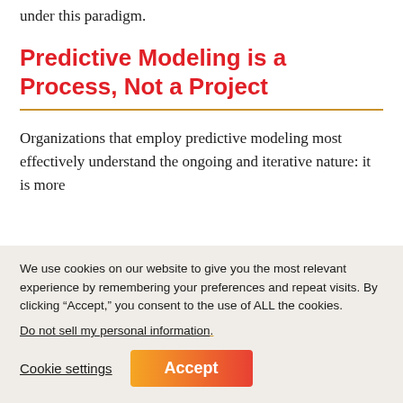under this paradigm.
Predictive Modeling is a Process, Not a Project
Organizations that employ predictive modeling most effectively understand the ongoing and iterative nature: it is more
We use cookies on our website to give you the most relevant experience by remembering your preferences and repeat visits. By clicking “Accept,” you consent to the use of ALL the cookies.
Do not sell my personal information.
Cookie settings
Accept